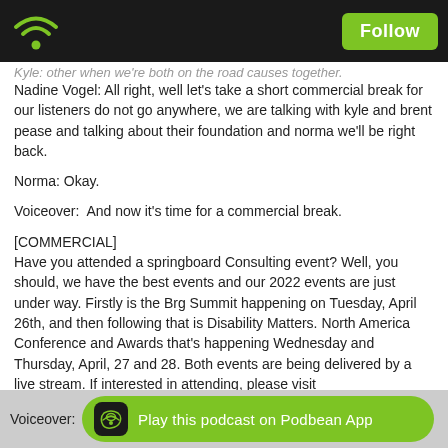Follow
Kyle: other when we're both on the road causes together.
Nadine Vogel: All right, well let's take a short commercial break for our listeners do not go anywhere, we are talking with kyle and brent pease and talking about their foundation and norma we'll be right back.
Norma: Okay.
Voiceover:  And now it's time for a commercial break.
[COMMERCIAL]
Have you attended a springboard Consulting event? Well, you should, we have the best events and our 2022 events are just under way. Firstly is the Brg Summit happening on Tuesday, April 26th, and then following that is Disability Matters. North America Conference and Awards that's happening Wednesday and Thursday, April, 27 and 28. Both events are being delivered by a live stream. If interested in attending, please visit www.consultspringboard.com for more information.
Voiceover:
Play this podcast on Podbean App